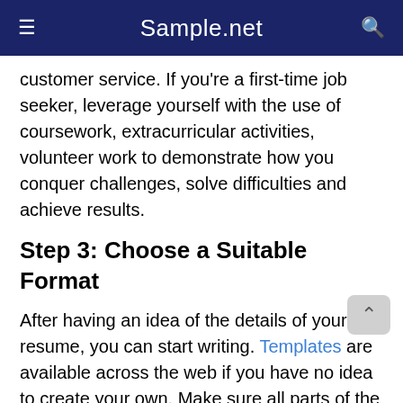Sample.net
customer service. If you’re a first-time job seeker, leverage yourself with the use of coursework, extracurricular activities, volunteer work to demonstrate how you conquer challenges, solve difficulties and achieve results.
Step 3: Choose a Suitable Format
After having an idea of the details of your resume, you can start writing. Templates are available across the web if you have no idea to create your own. Make sure all parts of the document are organized and easy to read. Ensure the use of simple designs if planning to use templates. Remember that the resume must range within 1 to 2 pages only.
Step 4: Gather Advice from People